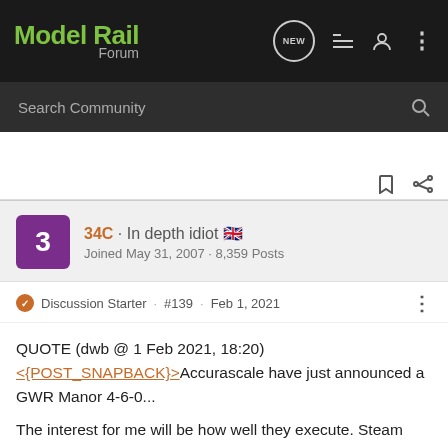ModelRail Forum
Search Community
34C · In depth idiot 🇬🇧
Joined May 31, 2007 · 8,359 Posts
Discussion Starter · #139 · Feb 1, 2021
QUOTE (dwb @ 1 Feb 2021, 18:20)
<{POST_SNAPBACK}>Accurascale have just announced a GWR Manor 4-6-0...
The interest for me will be how well they execute. Steam locos are significantly more difficult to make perform well, compared to twin bogie locos.